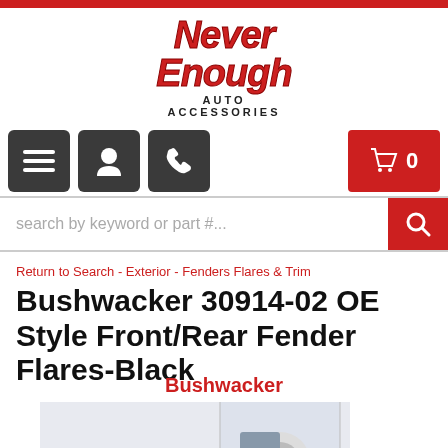Never Enough Auto Accessories
search by keyword or part #...
Return to Search - Exterior - Fenders Flares & Trim
Bushwacker 30914-02 OE Style Front/Rear Fender Flares-Black
Bushwacker
[Figure (photo): Product photo of a blue Toyota Highlander SUV with Bushwacker OE style fender flares, plus a close-up detail image of the fender flare on the rear wheel.]